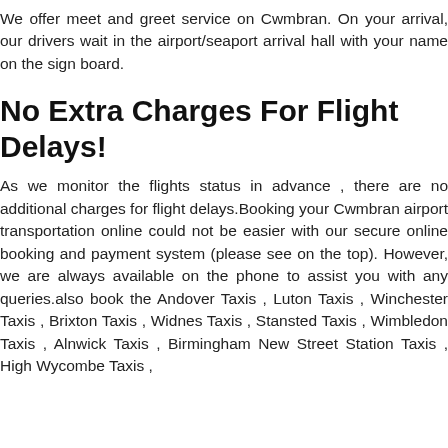We offer meet and greet service on Cwmbran. On your arrival, our drivers wait in the airport/seaport arrival hall with your name on the sign board.
No Extra Charges For Flight Delays!
As we monitor the flights status in advance , there are no additional charges for flight delays.Booking your Cwmbran airport transportation online could not be easier with our secure online booking and payment system (please see on the top). However, we are always available on the phone to assist you with any queries.also book the Andover Taxis , Luton Taxis , Winchester Taxis , Brixton Taxis , Widnes Taxis , Stansted Taxis , Wimbledon Taxis , Alnwick Taxis , Birmingham New Street Station Taxis , High Wycombe Taxis ,